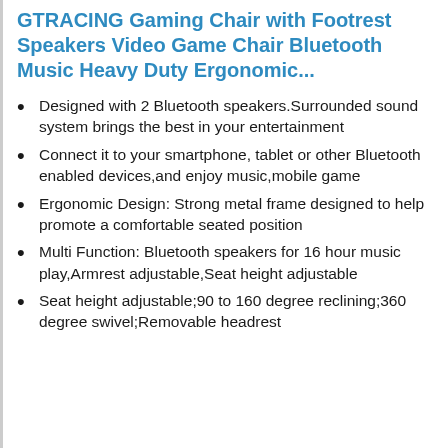GTRACING Gaming Chair with Footrest Speakers Video Game Chair Bluetooth Music Heavy Duty Ergonomic...
Designed with 2 Bluetooth speakers.Surrounded sound system brings the best in your entertainment
Connect it to your smartphone, tablet or other Bluetooth enabled devices,and enjoy music,mobile game
Ergonomic Design: Strong metal frame designed to help promote a comfortable seated position
Multi Function: Bluetooth speakers for 16 hour music play,Armrest adjustable,Seat height adjustable
Seat height adjustable;90 to 160 degree reclining;360 degree swivel;Removable headrest